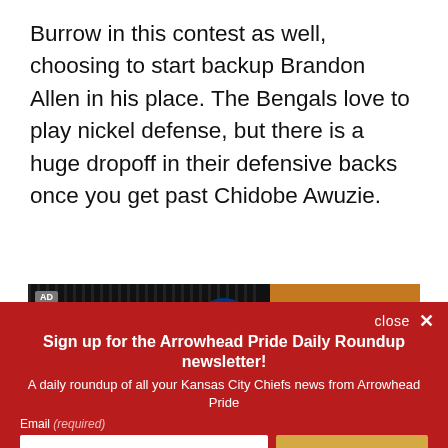Burrow in this contest as well, choosing to start backup Brandon Allen in his place. The Bengals love to play nickel defense, but there is a huge dropoff in their defensive backs once you get past Chidobe Awuzie.
[Figure (photo): Advertisement banner showing NFL logo on dark background with orange section on right]
close ×
Sign up for the Arrowhead Pride Daily Roundup newsletter!
A daily roundup of all your Kansas City Chiefs news from Arrowhead Pride
Email (required)
SUBSCRIBE
By submitting your email, you agree to our Terms and Privacy Notice. You can opt out at any time. This site is protected by reCAPTCHA and the Google Privacy Policy and Terms of Service apply.